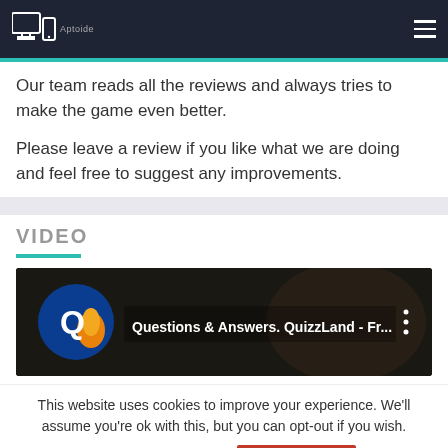Aptoide [logo header]
Our team reads all the reviews and always tries to make the game even better.
Please leave a review if you like what we are doing and feel free to suggest any improvements.
VIDEO
[Figure (screenshot): YouTube video thumbnail showing 'Questions & Answers. QuizzLand - Fr...' with QuizzLand logo on dark background]
This website uses cookies to improve your experience. We'll assume you're ok with this, but you can opt-out if you wish.
Cookie settings  ACCEPT